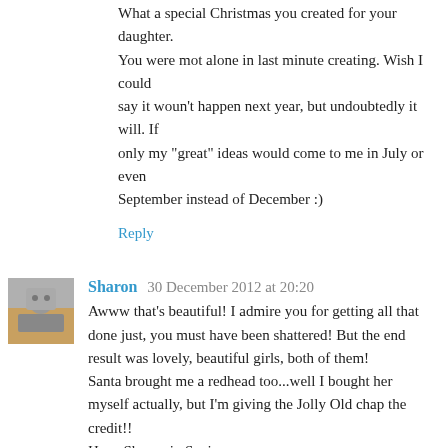What a special Christmas you created for your daughter. You were mot alone in last minute creating. Wish I could say it woun't happen next year, but undoubtedly it will. If only my "great" ideas would come to me in July or even September instead of December :)
Reply
Sharon  30 December 2012 at 20:20
Awww that's beautiful! I admire you for getting all that done just, you must have been shattered! But the end result was lovely, beautiful girls, both of them!
Santa brought me a redhead too...well I bought her myself actually, but I'm giving the Jolly Old chap the credit!!
Hugs Sharon in Spain xx
Reply
Tanja - SugarCharmShop  31 December 2012 at 11:38
I've just discovered your blog.
Beautiful doll! The russian outfit is really pretty but I love the